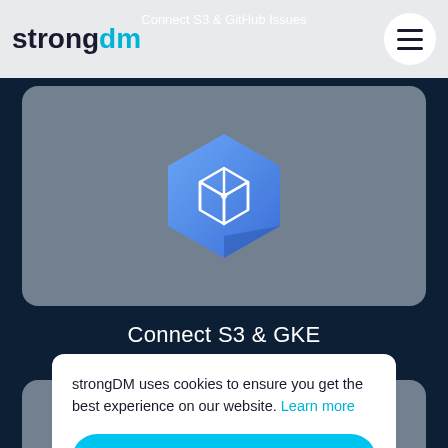Connect S3 & GitHub Issues
[Figure (logo): strongDM logo with 'strong' in dark text and 'dm' in cyan/blue color]
[Figure (illustration): Google Kubernetes Engine (GKE) hexagon logo in blue gradient with white 3D cube icon inside, on a grey card background]
Connect S3 & GKE
strongDM uses cookies to ensure you get the best experience on our website. Learn more
Got it!